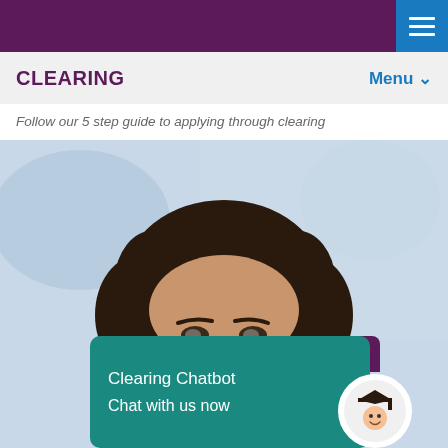CLEARING — Menu navigation bar with hamburger button
Follow our 5 step guide to applying through clearing
[Figure (photo): Close-up photo of a smiling young woman with curly dark hair, wearing a red top, with a blurred outdoor background]
Clearing Chatbot — Chat with us now